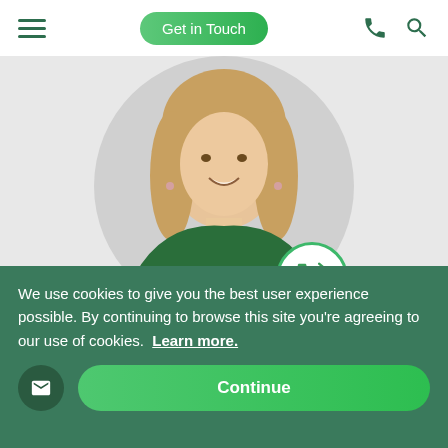Get in Touch
[Figure (photo): A smiling woman with blonde hair wearing a dark green polo shirt with 'STAFF' text, shown in a circular crop. A green phone/call icon badge overlays the bottom right of the circle.]
Ready to Start Your Journey?
We have the expertise and staff on the ground to create a custom project for you, or simply help you find the best option.
We use cookies to give you the best user experience possible. By continuing to browse this site you're agreeing to our use of cookies. Learn more.